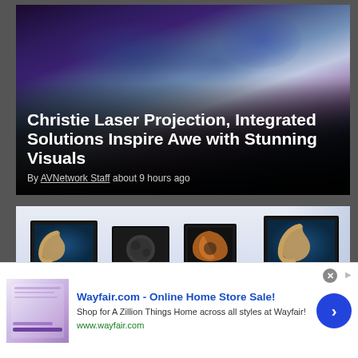[Figure (photo): Article card with hero image of Christie laser projection display — dark blue and purple tones showing projection on a curved surface. Overlaid title and byline text.]
Christie Laser Projection, Integrated Solutions Inspire Awe with Stunning Visuals
By AVNetwork Staff about 9 hours ago
[Figure (photo): Classroom setting with multiple large monitors on the wall displaying satellite/scientific imagery including an island aerial view and moon crater images.]
[Figure (other): Advertisement banner: Wayfair.com - Online Home Store Sale! Shop for A Zillion Things Home across all styles at Wayfair! www.wayfair.com]